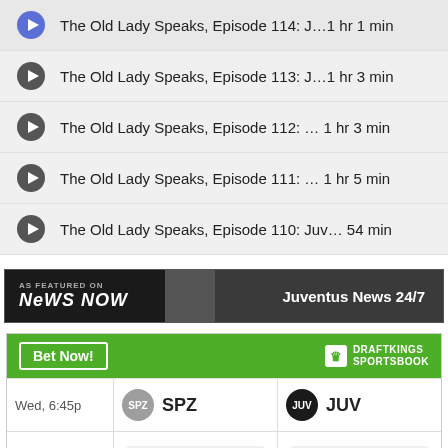The Old Lady Speaks, Episode 114: J…1 hr 1 min
The Old Lady Speaks, Episode 113: J…1 hr 3 min
The Old Lady Speaks, Episode 112: … 1 hr 3 min
The Old Lady Speaks, Episode 111: … 1 hr 5 min
The Old Lady Speaks, Episode 110: Juv… 54 min
[Figure (logo): AS FEATURED ON News Now banner with Juventus News 24/7 label]
[Figure (infographic): DraftKings Sportsbook widget showing SPZ vs JUV match on Wed 6:45p with spread +1.5 (+100) and -1.5 (-140)]